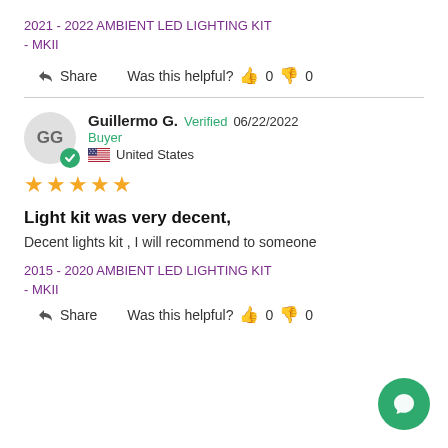2021 - 2022 AMBIENT LED LIGHTING KIT
- MKII
Share   Was this helpful? 👍 0 👎 0
Guillermo G.  Verified Buyer  United States  06/22/2022
★★★★★
Light kit was very decent,
Decent lights kit , I will recommend to someone
2015 - 2020 AMBIENT LED LIGHTING KIT
- MKII
Share   Was this helpful? 👍 0 👎 0